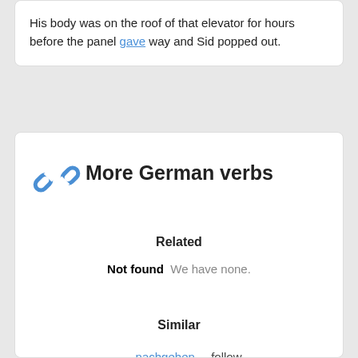His body was on the roof of that elevator for hours before the panel gave way and Sid popped out.
More German verbs
Related
Not found   We have none.
Similar
nachgehen   follow
nachleben   follow
Similar but longer